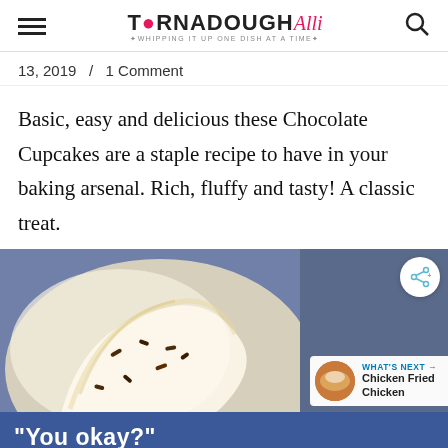TORNADOUGH Alli — WHIPPING IT UP ONE DISH AT A TIME
13, 2019  /  1 Comment
Basic, easy and delicious these Chocolate Cupcakes are a staple recipe to have in your baking arsenal. Rich, fluffy and tasty! A classic treat.
[Figure (photo): Close-up photo of a cupcake with white frosting and chocolate sprinkles on a blue/grey background, with a 'What's Next: Chicken Fried Chicken' overlay and a share button]
"You okay?"